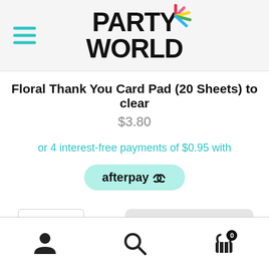[Figure (logo): Party World logo with colorful starburst above the text]
Floral Thank You Card Pad (20 Sheets) to clear
$3.80
or 4 interest-free payments of $0.95 with
[Figure (logo): Afterpay button with teal/mint background]
1
Add to Bag
User profile icon | Search icon | Cart icon with badge 0